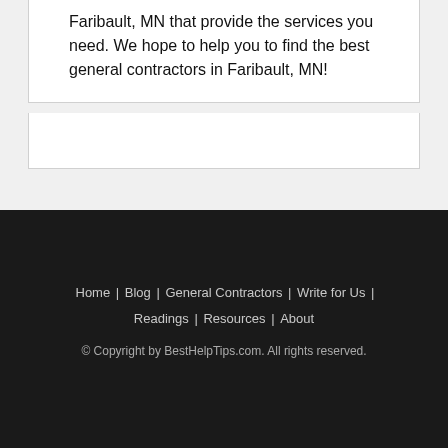Faribault, MN that provide the services you need. We hope to help you to find the best general contractors in Faribault, MN!
Home | Blog | General Contractors | Write for Us | Readings | Resources | About
© Copyright by BestHelpTips.com. All rights reserved.